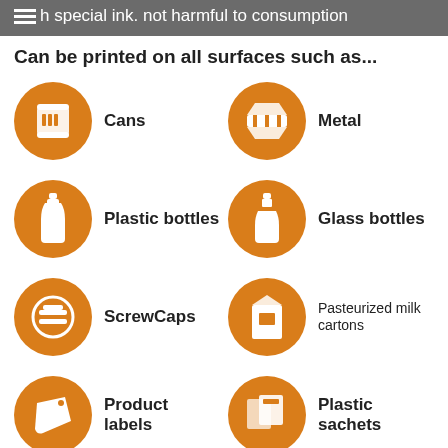h special ink. not harmful to consumption
Can be printed on all surfaces such as...
Cans
Metal
Plastic bottles
Glass bottles
ScrewCaps
Pasteurized milk cartons
Product labels
Plastic sachets